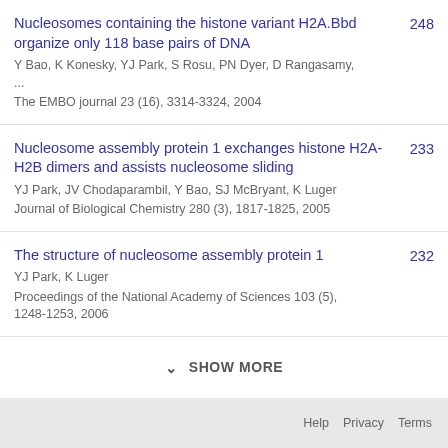Nucleosomes containing the histone variant H2A.Bbd organize only 118 base pairs of DNA
Y Bao, K Konesky, YJ Park, S Rosu, PN Dyer, D Rangasamy, ...
The EMBO journal 23 (16), 3314-3324, 2004
248
Nucleosome assembly protein 1 exchanges histone H2A-H2B dimers and assists nucleosome sliding
YJ Park, JV Chodaparambil, Y Bao, SJ McBryant, K Luger
Journal of Biological Chemistry 280 (3), 1817-1825, 2005
233
The structure of nucleosome assembly protein 1
YJ Park, K Luger
Proceedings of the National Academy of Sciences 103 (5), 1248-1253, 2006
232
SHOW MORE
Help  Privacy  Terms